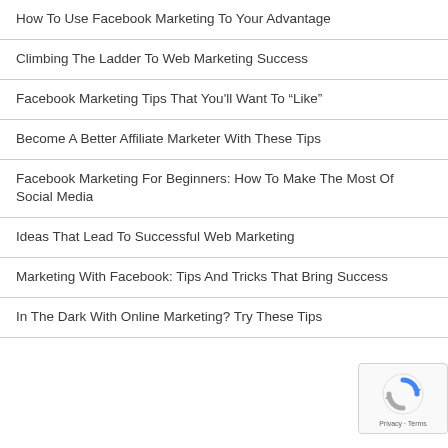How To Use Facebook Marketing To Your Advantage
Climbing The Ladder To Web Marketing Success
Facebook Marketing Tips That You'll Want To “Like”
Become A Better Affiliate Marketer With These Tips
Facebook Marketing For Beginners: How To Make The Most Of Social Media
Ideas That Lead To Successful Web Marketing
Marketing With Facebook: Tips And Tricks That Bring Success
In The Dark With Online Marketing? Try These Tips